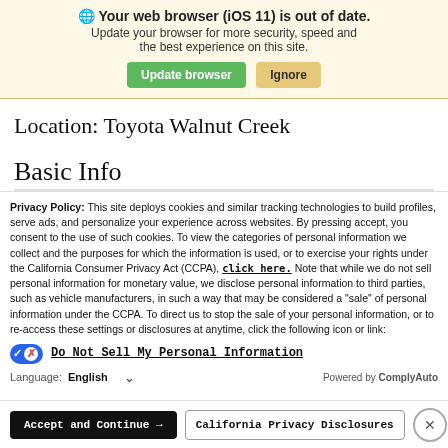Your web browser (iOS 11) is out of date. Update your browser for more security, speed and the best experience on this site. [Update browser] [Ignore]
Location: Toyota Walnut Creek
Basic Info
Privacy Policy: This site deploys cookies and similar tracking technologies to build profiles, serve ads, and personalize your experience across websites. By pressing accept, you consent to the use of such cookies. To view the categories of personal information we collect and the purposes for which the information is used, or to exercise your rights under the California Consumer Privacy Act (CCPA), click here. Note that while we do not sell personal information for monetary value, we disclose personal information to third parties, such as vehicle manufacturers, in such a way that may be considered a "sale" of personal information under the CCPA. To direct us to stop the sale of your personal information, or to re-access these settings or disclosures at anytime, click the following icon or link:
Do Not Sell My Personal Information
Language: English  Powered by ComplyAuto
Accept and Continue → California Privacy Disclosures ×